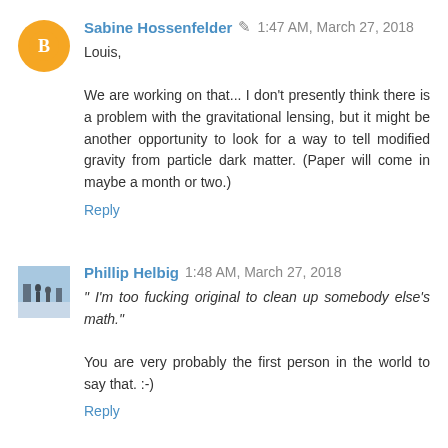Sabine Hossenfelder [edit icon] 1:47 AM, March 27, 2018
Louis,

We are working on that... I don't presently think there is a problem with the gravitational lensing, but it might be another opportunity to look for a way to tell modified gravity from particle dark matter. (Paper will come in maybe a month or two.)
Reply
Phillip Helbig 1:48 AM, March 27, 2018
" I'm too fucking original to clean up somebody else's math."

You are very probably the first person in the world to say that. :-)
Reply